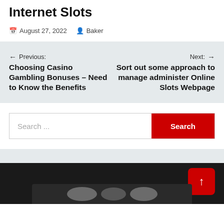Internet Slots
August 27, 2022   Baker
← Previous: Choosing Casino Gambling Bonuses – Need to Know the Benefits
Next: → Sort out some approach to manage administer Online Slots Webpage
Search ...
[Figure (photo): Bottom image strip showing coins on dark background, partially visible]